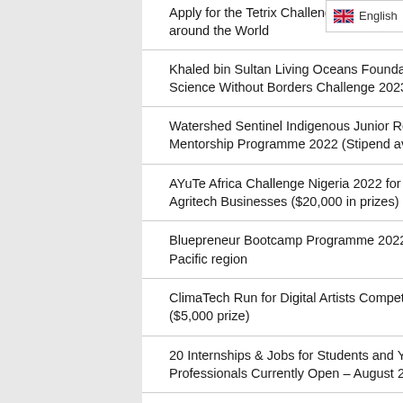Apply for the Tetrix Challenge around the World
Khaled bin Sultan Living Oceans Foundation Science Without Borders Challenge 2023
Watershed Sentinel Indigenous Junior Reporter Mentorship Programme 2022 (Stipend available)
AYuTe Africa Challenge Nigeria 2022 for Youth-led Agritech Businesses ($20,000 in prizes)
Bluepreneur Bootcamp Programme 2022 for Asia Pacific region
ClimaTech Run for Digital Artists Competition 2022 ($5,000 prize)
20 Internships & Jobs for Students and Young Professionals Currently Open – August 29, 2022
Netflix Creative Equity Scholarship Fund for Nigeria, West & Central Africa 2022